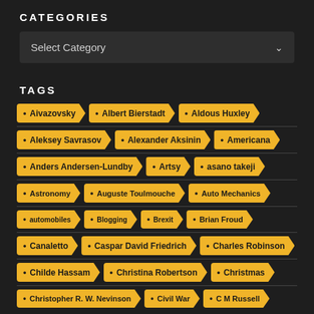CATEGORIES
Select Category
TAGS
Aivazovsky
Albert Bierstadt
Aldous Huxley
Aleksey Savrasov
Alexander Aksinin
Americana
Anders Andersen-Lundby
Artsy
asano takeji
Astronomy
Auguste Toulmouche
Auto Mechanics
automobiles
Blogging
Brexit
Brian Froud
Canaletto
Caspar David Friedrich
Charles Robinson
Childe Hassam
Christina Robertson
Christmas
Christopher R. W. Nevinson
Civil War
C M Russell